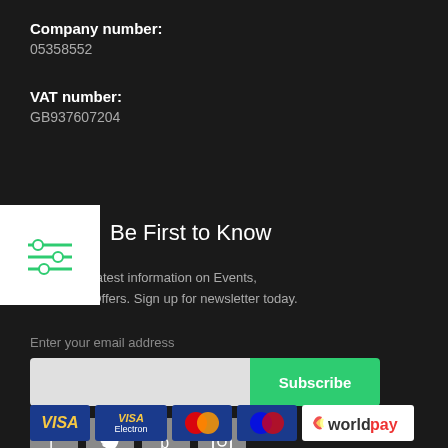Company number:
05358552
VAT number:
GB937607204
[Figure (other): Menu/filter icon with three horizontal lines with sliders, white background]
Be First to Know
Get all the latest information on Events, Sales and Offers. Sign up for newsletter today.
Enter your email address
[Figure (other): Email input field with Subscribe button in green]
[Figure (other): Social media icons: Facebook, Twitter, Pinterest, Instagram]
[Figure (other): Payment icons: VISA, VISA Electron, Mastercard, Maestro, Worldpay]